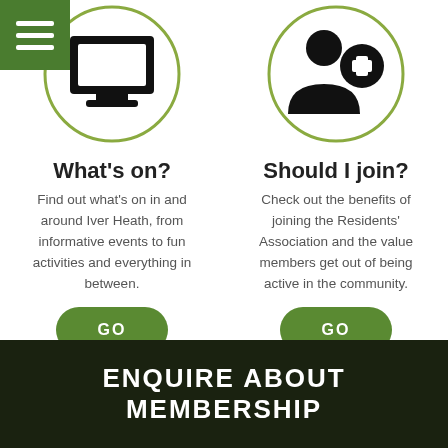[Figure (illustration): Two circular icons at top: left shows a calendar/screen icon, right shows a person-with-plus icon (join/membership). A green hamburger menu button overlays top-left corner.]
What's on?
Find out what's on in and around Iver Heath, from informative events to fun activities and everything in between.
Should I join?
Check out the benefits of joining the Residents' Association and the value members get out of being active in the community.
GO
GO
ENQUIRE ABOUT MEMBERSHIP